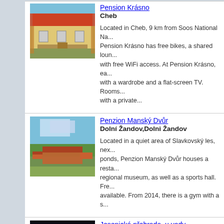Pension Krásno — Cheb — Located in Cheb, 9 km from Soos National Na... Pension Krásno has free bikes, a shared loun... with free WiFi access. At Pension Krásno, ea... with a wardrobe and a flat-screen TV. Rooms... with a private...
Penzion Manský Dvůr — Dolní Žandov,Dolni Žandov — Located in a quiet area of Slavkovský les, nex... ponds, Penzion Manský Dvůr houses a resta... regional museum, as well as a sports hall. Fre... available. From 2014, there is a gym with a s...
Jesenická přehrada, u vody — Cheb — Boasting accommodation with a terrace, Jese... u vody is set in Cheb. This holiday home offe... facilities as well as a garden. Opening onto a... holiday home consists of 2 bedrooms and a f... kitchen....